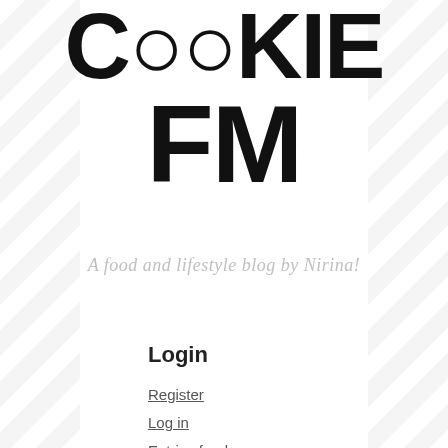[Figure (logo): Cookie FM logo — large bold black text reading COOKIE FM stacked in two lines]
A food and lifestyle blog by Nirina!
Login
Register
Log in
Entries feed
Comments feed
WordPress.com